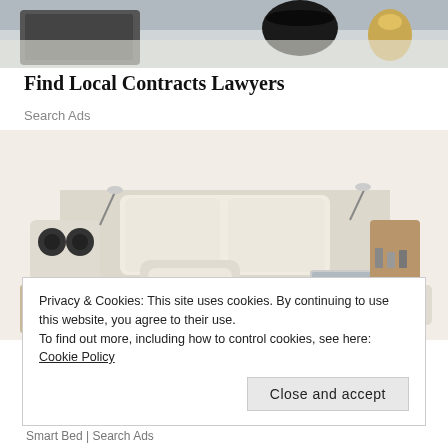[Figure (photo): Top portion of a photo showing a coffee cup, keyboard, and golden items on a desk surface]
Find Local Contracts Lawyers
Search Ads
[Figure (photo): A large multi-functional smart bed with built-in speakers, massage chair, storage drawers, shelves, and a laptop on the surface]
Privacy & Cookies: This site uses cookies. By continuing to use this website, you agree to their use.
To find out more, including how to control cookies, see here: Cookie Policy
Close and accept
Smart Bed | Search Ads